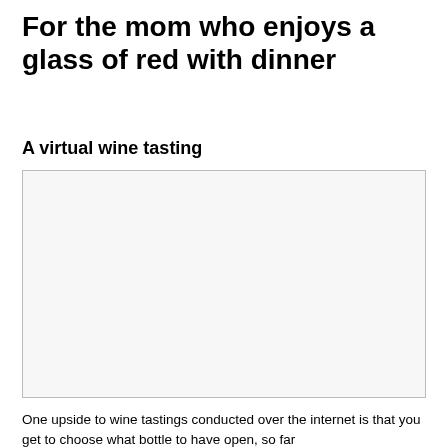For the mom who enjoys a glass of red with dinner
A virtual wine tasting
[Figure (photo): Empty placeholder image box with light gray background and thin border]
One upside to wine tastings conducted over the internet is that you get to choose what bottle to have open, so far